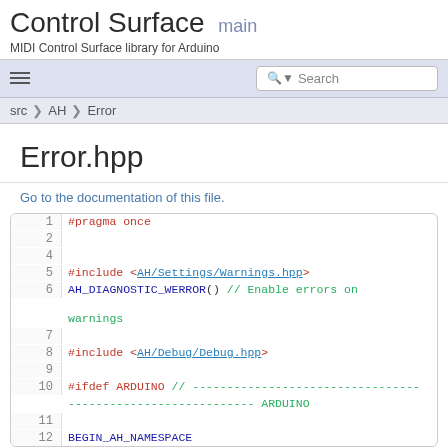Control Surface main
MIDI Control Surface library for Arduino
Search
src > AH > Error
Error.hpp
Go to the documentation of this file.
1 #pragma once
2
4
5 #include <AH/Settings/Warnings.hpp>
6 AH_DIAGNOSTIC_WERROR() // Enable errors on warnings
7
8 #include <AH/Debug/Debug.hpp>
9
10 #ifdef ARDUINO // --------------------------------- ARDUINO
11
12 BEGIN_AH_NAMESPACE